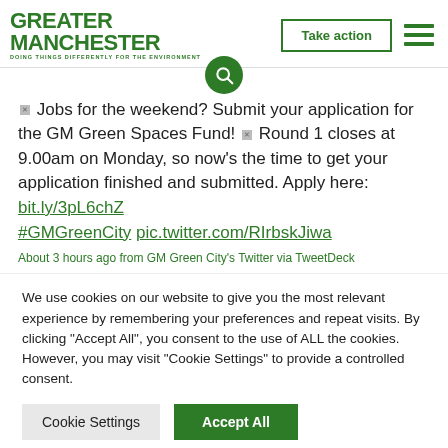GREATER MANCHESTER — DOING THINGS DIFFERENTLY FOR THE ENVIRONMENT | Take action | Menu
🗙 Jobs for the weekend? Submit your application for the GM Green Spaces Fund! 🗙 Round 1 closes at 9.00am on Monday, so now's the time to get your application finished and submitted. Apply here: bit.ly/3pL6chZ #GMGreenCity pic.twitter.com/RIrbskJiwa
About 3 hours ago from GM Green City's Twitter via TweetDeck
We use cookies on our website to give you the most relevant experience by remembering your preferences and repeat visits. By clicking "Accept All", you consent to the use of ALL the cookies. However, you may visit "Cookie Settings" to provide a controlled consent.